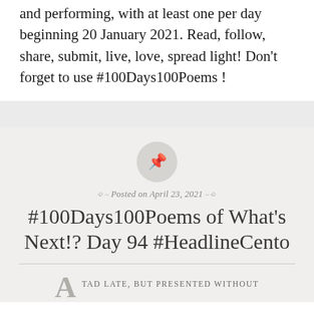and performing, with at least one per day beginning 20 January 2021. Read, follow, share, submit, live, love, spread light! Don't forget to use #100Days100Poems !
[Figure (illustration): A circular grey icon with a pushpin/thumbtack symbol in the center]
Posted on April 23, 2021
#100Days100Poems of What's Next!? Day 94 #HeadlineCento
A TAD LATE, BUT PRESENTED WITHOUT